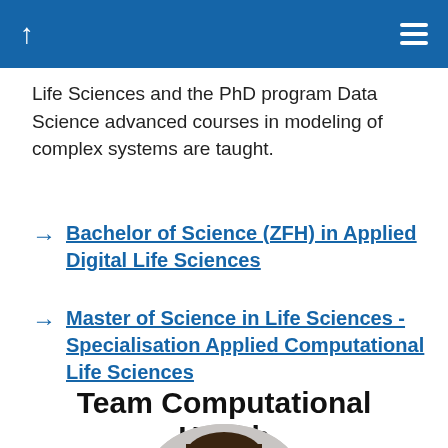navigation header with up arrow and hamburger menu
Life Sciences and the PhD program Data Science advanced courses in modeling of complex systems are taught.
Bachelor of Science (ZFH) in Applied Digital Life Sciences
Master of Science in Life Sciences - Specialisation Applied Computational Life Sciences
Team Computational Health
[Figure (photo): Circular portrait photo of a person with brown hair]